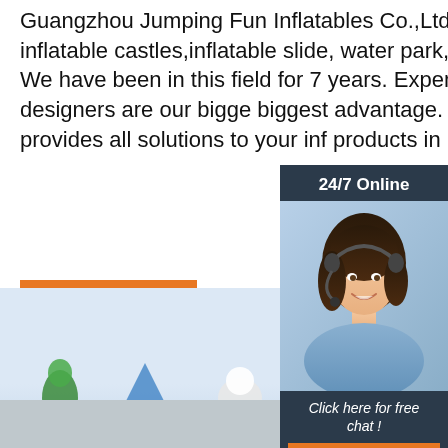Guangzhou Jumping Fun Inflatables Co.,Ltd specializes in producing inflatable castles,inflatable slide, water park,advertising items and so on. We have been in this field for 7 years. Experienced workers &creative designers are our bigge biggest advantage. Established, Jumping fun provides all solutions to your inf products in need.
Get Price
[Figure (photo): Chat widget with '24/7 Online' header, photo of a woman with headset smiling, 'Click here for free chat!' text, and orange QUOTATION button, on a dark blue/grey background.]
[Figure (photo): Bottom portion showing a light blue sky background with colorful inflatable toy figures visible at the bottom edge, a grey floor strip, and an orange 'TOP' logo with triangle dots in the lower right.]